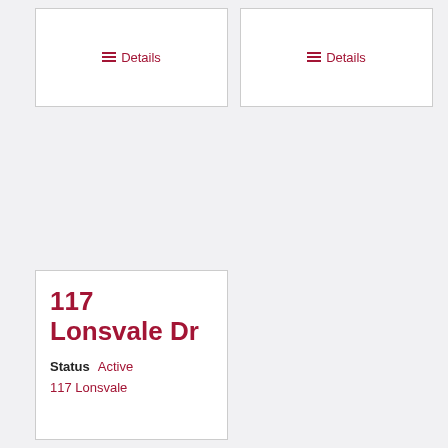[Figure (other): Card with Details link (top left card, partially cropped at top)]
[Figure (other): Card with Details link (top right card, partially cropped at top)]
117 Lonsvale Dr
Status  Active
117 Lonsvale